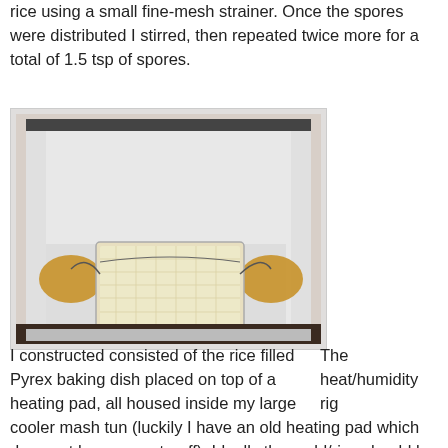rice using a small fine-mesh strainer.  Once the spores were distributed I stirred, then repeated twice more for a total of 1.5 tsp of spores.
[Figure (photo): A white cooler (mash tun) with a rice-filled Pyrex baking dish placed on a heating pad inside it, with wires visible.]
The heat/humidity rig I constructed consisted of the rice filled Pyrex baking dish placed on top of a heating pad, all housed inside my large cooler mash tun (luckily I have an old heating pad which does not have an auto-off).  Ideally the mold/rice should be held at 96 degrees, so I wrapped the probe of my digital temperature controller in plastic wrap, and stuck that inside a Ziploc baggie and buried it in the center of the rice.  It took me a few minutes to figure out how to switch my controller